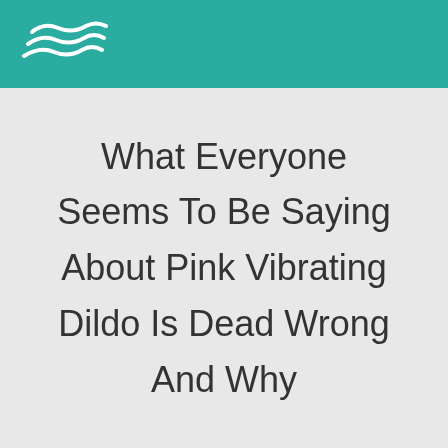[Figure (logo): White wavy lines logo on teal background header bar]
What Everyone Seems To Be Saying About Pink Vibrating Dildo Is Dead Wrong And Why